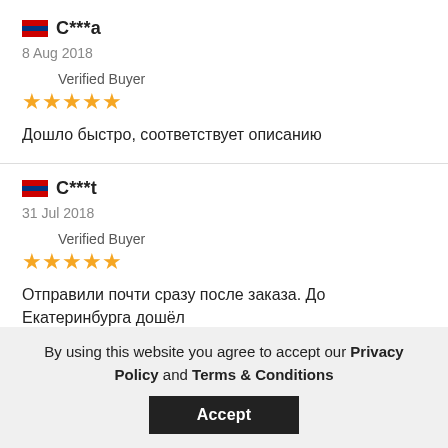С***а | 8 Aug 2018 | Verified Buyer | ★★★★★ | Дошло быстро, соответствует описанию
С***t | 31 Jul 2018 | Verified Buyer | ★★★★★ | Отправили почти сразу после заказа. До Екатеринбурга дошёл за месяц.
By using this website you agree to accept our Privacy Policy and Terms & Conditions
Accept